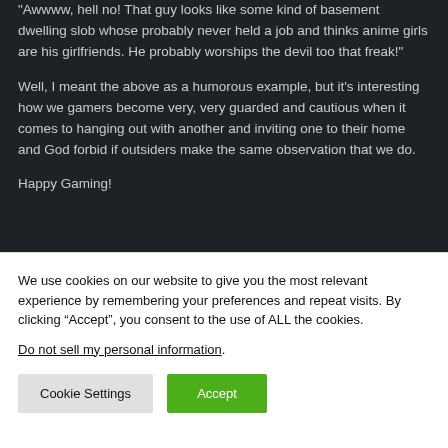"Awwww, hell no! That guy looks like some kind of basement dwelling slob whose probably never held a job and thinks anime girls are his girlfriends. He probably worships the devil too that freak!"
Well, I meant the above as a humorous example, but it's interesting how we gamers become very, very guarded and cautious when it comes to hanging out with another and inviting one to their home and God forbid if outsiders make the same observation that we do.
Happy Gaming!
We use cookies on our website to give you the most relevant experience by remembering your preferences and repeat visits. By clicking “Accept”, you consent to the use of ALL the cookies.
Do not sell my personal information.